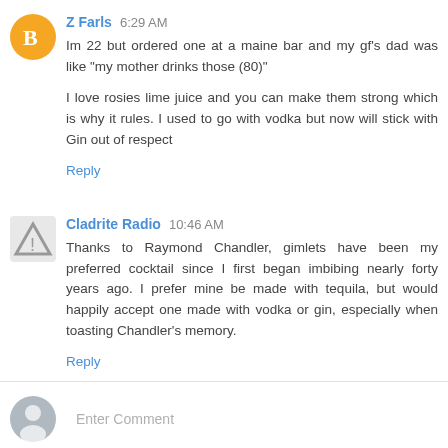Z Farls  6:29 AM
Im 22 but ordered one at a maine bar and my gf's dad was like "my mother drinks those (80)"

I love rosies lime juice and you can make them strong which is why it rules. I used to go with vodka but now will stick with Gin out of respect
Reply
Cladrite Radio  10:46 AM
Thanks to Raymond Chandler, gimlets have been my preferred cocktail since I first began imbibing nearly forty years ago. I prefer mine be made with tequila, but would happily accept one made with vodka or gin, especially when toasting Chandler's memory.
Reply
Enter Comment